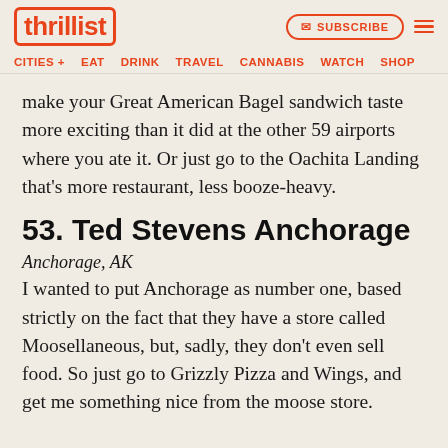thrillist | SUBSCRIBE
CITIES + EAT DRINK TRAVEL CANNABIS WATCH SHOP
make your Great American Bagel sandwich taste more exciting than it did at the other 59 airports where you ate it. Or just go to the Oachita Landing that's more restaurant, less booze-heavy.
53. Ted Stevens Anchorage
Anchorage, AK
I wanted to put Anchorage as number one, based strictly on the fact that they have a store called Moosellaneous, but, sadly, they don't even sell food. So just go to Grizzly Pizza and Wings, and get me something nice from the moose store.